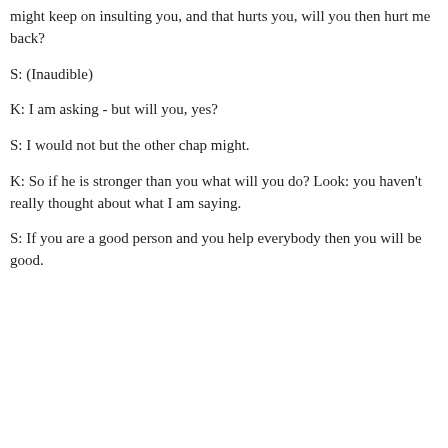might keep on insulting you, and that hurts you, will you then hurt me back?
S: (Inaudible)
K: I am asking - but will you, yes?
S: I would not but the other chap might.
K: So if he is stronger than you what will you do? Look: you haven't really thought about what I am saying.
S: If you are a good person and you help everybody then you will be good.